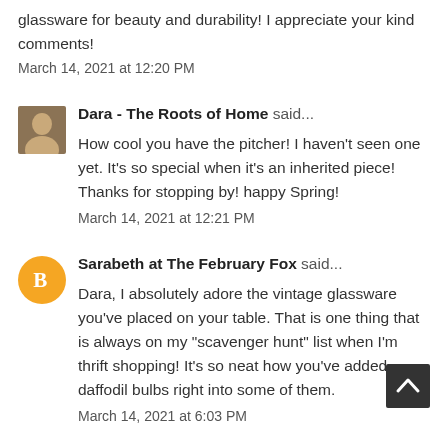glassware for beauty and durability! I appreciate your kind comments!
March 14, 2021 at 12:20 PM
Dara - The Roots of Home said...
How cool you have the pitcher! I haven't seen one yet. It's so special when it's an inherited piece! Thanks for stopping by! happy Spring!
March 14, 2021 at 12:21 PM
Sarabeth at The February Fox said...
Dara, I absolutely adore the vintage glassware you've placed on your table. That is one thing that is always on my "scavenger hunt" list when I'm thrift shopping! It's so neat how you've added daffodil bulbs right into some of them.
March 14, 2021 at 6:03 PM